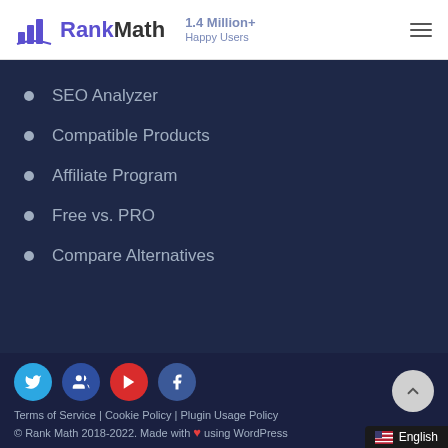RankMath — 1.4 Million+ Happy Users
SEO Analyzer
Compatible Products
Affiliate Program
Free vs. PRO
Compare Alternatives
Terms of Service | Cookie Policy | Plugin Usage Policy
© Rank Math 2018-2022. Made with ❤ using WordPress